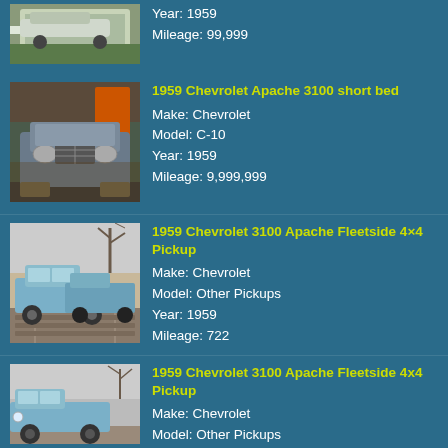[Figure (photo): Partial view of a classic car/truck (top portion cut off), seen from side, white/blue, parked on grass]
Year: 1959
Mileage: 99,999
[Figure (photo): 1959 Chevrolet Apache 3100 truck, front view, weathered/rusty, stored in a building]
1959 Chevrolet Apache 3100 short bed
Make: Chevrolet
Model: C-10
Year: 1959
Mileage: 9,999,999
[Figure (photo): 1959 Chevrolet 3100 Apache Fleetside 4x4 pickup trucks lined up outdoors in winter, light blue]
1959 Chevrolet 3100 Apache Fleetside 4×4 Pickup
Make: Chevrolet
Model: Other Pickups
Year: 1959
Mileage: 722
[Figure (photo): 1959 Chevrolet 3100 Apache Fleetside 4x4 pickup truck, light blue, outdoor setting with bare trees]
1959 Chevrolet 3100 Apache Fleetside 4x4 Pickup
Make: Chevrolet
Model: Other Pickups
Year: 1959
Mileage: 722